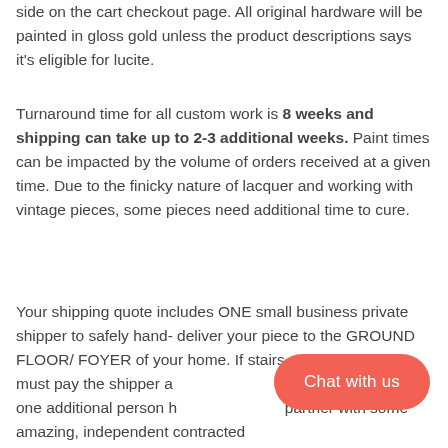side on the cart checkout page. All original hardware will be painted in gloss gold unless the product descriptions says it's eligible for lucite.
Turnaround time for all custom work is 8 weeks and shipping can take up to 2-3 additional weeks. Paint times can be impacted by the volume of orders received at a given time. Due to the finicky nature of lacquer and working with vintage pieces, some pieces need additional time to cure.
Your shipping quote includes ONE small business private shipper to safely hand- deliver your piece to the GROUND FLOOR/ FOYER of your home. If stairs are needed, you must pay the shipper a... ND have at least one additional person h... partner with some amazing, independent contracted